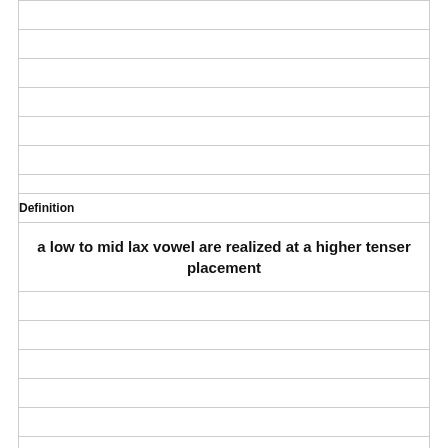|  |
|  |
|  |
|  |
|  |
|  |
| Definition |
| a low to mid lax vowel are realized at a higher tenser placement |
|  |
|  |
|  |
|  |
|  |
|  |
|  |
| (shaded) |
| Term |
| chain shift |